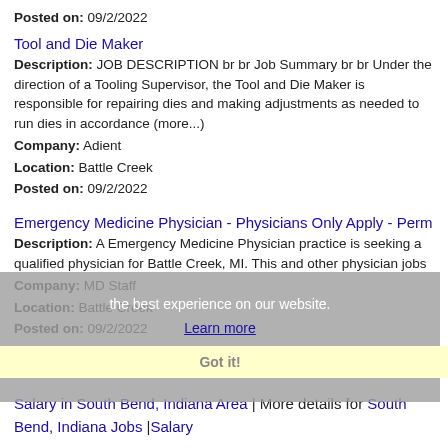Posted on: 09/2/2022
Tool and Die Maker
Description: JOB DESCRIPTION br br Job Summary br br Under the direction of a Tooling Supervisor, the Tool and Die Maker is responsible for repairing dies and making adjustments as needed to run dies in accordance (more...)
Company: Adient
Location: Battle Creek
Posted on: 09/2/2022
Emergency Medicine Physician - Physicians Only Apply - Perm
Description: A Emergency Medicine Physician practice is seeking a qualified physician for Battle Creek, MI. This and other physician jobs
Company: MD Staff
Location: Battle Creek
Posted on: 09/2/2022
Salary in South Bend, Indiana Area | More details for South Bend, Indiana Jobs |Salary